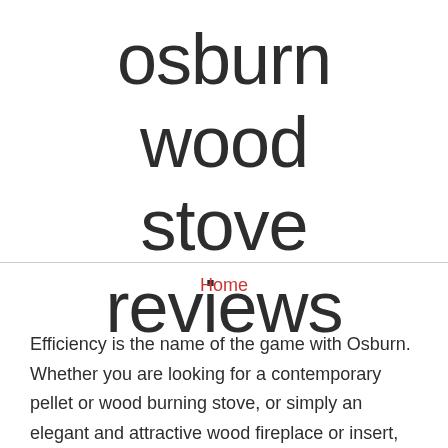osburn wood stove reviews
Home
Efficiency is the name of the game with Osburn. Whether you are looking for a contemporary pellet or wood burning stove, or simply an elegant and attractive wood fireplace or insert, you will surely find a design that suits your needs